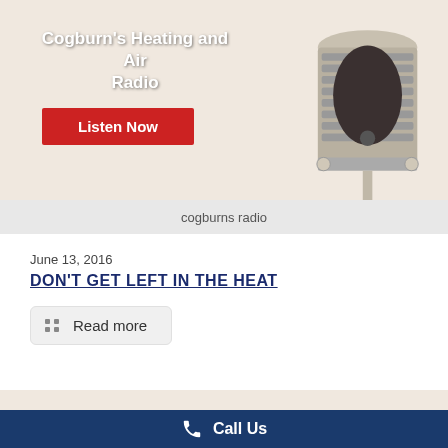[Figure (illustration): Banner with beige/cream background showing 'Cogburn's Heating and Air Radio' text with a red 'Listen Now' button and a vintage microphone image on the right side]
cogburns radio
June 13, 2016
DON'T GET LEFT IN THE HEAT
Read more
[Figure (illustration): Partial beige/cream banner at the bottom]
Call Us